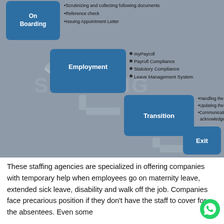[Figure (flowchart): HR staffing process flowchart showing stages: On Boarding (with bullets: Scrutinizing and collecting following documents, Reference check, Issuing Appointment Letter), Employment (with bullets: myPayroll, Payroll Compliance, Statutory Compliance, Leave Management System), Transition (with bullets: Handling the Transition, Updating the Employee, Communicating and acknowledgement), and Exit. Arrows connect each stage in sequence.]
These staffing agencies are specialized in offering companies with temporary help when employees go on maternity leave, extended sick leave, disability and walk off the job. Companies face precarious position if they don't have the staff to cover for the absentees. Even some